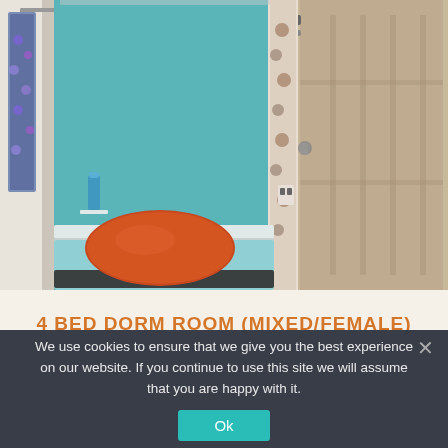[Figure (photo): Interior photo of a hostel dorm room showing a single bed with light blue mattress/sheets and an orange/red pillow against a turquoise-painted wall. A water bottle is visible on a shelf. On the right side is a wooden door with hardware and floral curtains separating bunk spaces.]
4 BED DORM ROOM (MIXED/FEMALE)
We use cookies to ensure that we give you the best experience on our website. If you continue to use this site we will assume that you are happy with it.